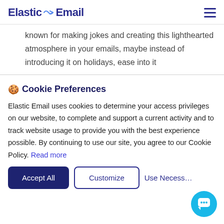Elastic Email
known for making jokes and creating this lighthearted atmosphere in your emails, maybe instead of introducing it on holidays, ease into it
🍪 Cookie Preferences
Elastic Email uses cookies to determine your access privileges on our website, to complete and support a current activity and to track website usage to provide you with the best experience possible. By continuing to use our site, you agree to our Cookie Policy. Read more
Accept All | Customize | Use Necessary Only